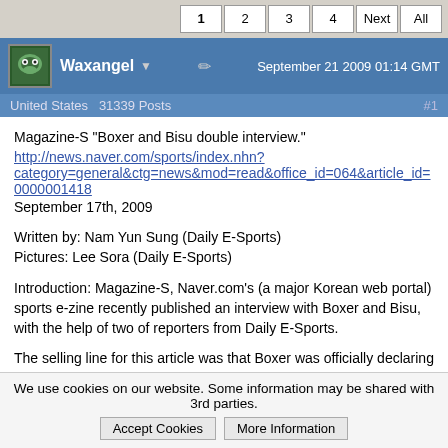1 2 3 4 Next All
Waxangel ▼   September 21 2009 01:14 GMT
United States  31339 Posts  #1
Magazine-S "Boxer and Bisu double interview."
http://news.naver.com/sports/index.nhn?category=general&ctg=news&mod=read&office_id=064&article_id=0000001418
September 17th, 2009
Written by: Nam Yun Sung (Daily E-Sports)
Pictures: Lee Sora (Daily E-Sports)
Introduction: Magazine-S, Naver.com's (a major Korean web portal) sports e-zine recently published an interview with Boxer and Bisu, with the help of two of reporters from Daily E-Sports.
The selling line for this article was that Boxer was officially declaring Bisu to be his heir (it's in the original title), but that is something of an exaggeration so I'm going to talk about it like it's official. People can decide for themselves what Boxer means. There is a long introductory segment that provides background information on the two players that shouldn't be unfamiliar to the readers at teamliquid, so I'll go straight to the meat and bones.
We use cookies on our website. Some information may be shared with 3rd parties. Accept Cookies  More Information